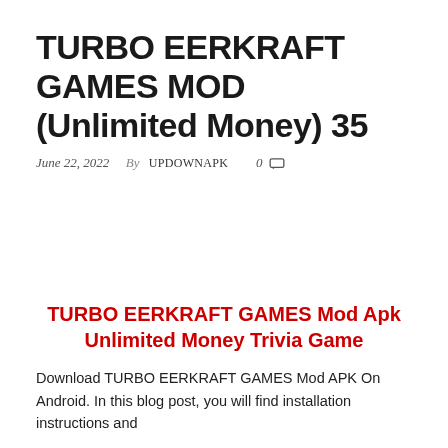TURBO EERKRAFT GAMES MOD (Unlimited Money) 35
June 22, 2022   By  UPDOWNAPK   0 💬
TURBO EERKRAFT GAMES Mod Apk Unlimited Money Trivia Game
Download TURBO EERKRAFT GAMES Mod APK On Android. In this blog post, you will find installation instructions and